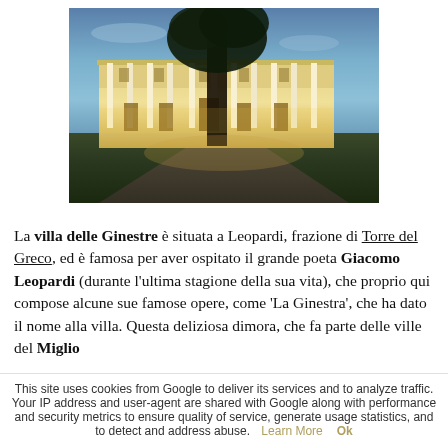[Figure (photo): Nighttime/dusk photo of Villa delle Ginestre, an illuminated neoclassical villa with white columns and warm golden lighting, with a large tree silhouette in the foreground and blue-purple sky in the background.]
La villa delle Ginestre è situata a Leopardi, frazione di Torre del Greco, ed è famosa per aver ospitato il grande poeta Giacomo Leopardi (durante l'ultima stagione della sua vita), che proprio qui compose alcune sue famose opere, come 'La Ginestra', che ha dato il nome alla villa. Questa deliziosa dimora, che fa parte delle ville del Miglio d'O...
This site uses cookies from Google to deliver its services and to analyze traffic. Your IP address and user-agent are shared with Google along with performance and security metrics to ensure quality of service, generate usage statistics, and to detect and address abuse. Learn More Ok